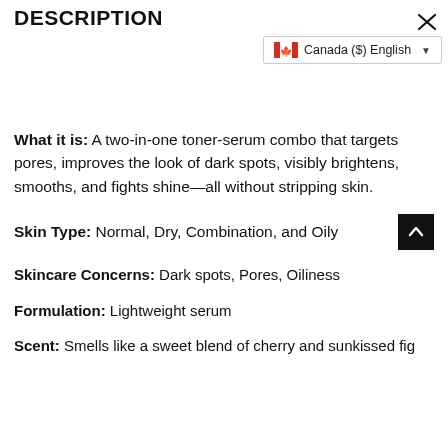DESCRIPTION
Canada ($) English
What it is: A two-in-one toner-serum combo that targets pores, improves the look of dark spots, visibly brightens, smooths, and fights shine—all without stripping skin.
Skin Type: Normal, Dry, Combination, and Oily
Skincare Concerns: Dark spots, Pores, Oiliness
Formulation: Lightweight serum
Scent: Smells like a sweet blend of cherry and sunkissed fig